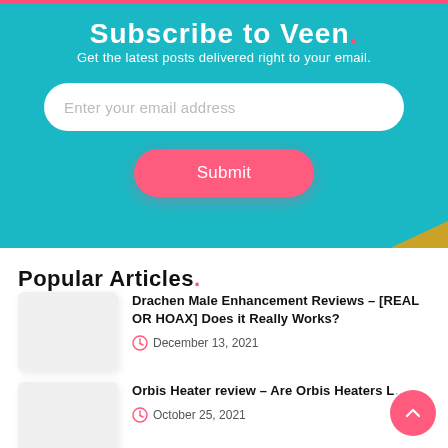Subscribe to Veen.
Get the latest posts delivered right to your email.
[Figure (other): Email input field with placeholder text 'Enter your email address']
[Figure (other): Submit button in pink/red color]
Popular Articles.
Drachen Male Enhancement Reviews - [REAL OR HOAX] Does it Really Works?
December 13, 2021
Orbis Heater review - Are Orbis Heaters L…
October 25, 2021